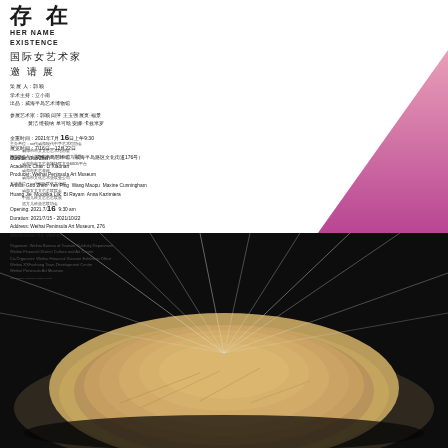存 在 HER NAME EXISTENCE 国际女艺术家 遨 请 展
策展人：郭 颖
学术主持：立小南
出品：威海半岛艺术博物馆
参展艺术家：郭颖 闫萍 王玉强 展页·福景
黄洁 维顿纳 单可晗 安娜·卡兹米罗
全重时间：2021年7月16日上午9:30
展览时间：7/16日—12月22日
展览地点：威海半岛艺术馆（威海半岛路区文化街道176号）
主办单位：xx代威海现代中学艺术馆协会
威海市市女文艺艺术馆协会
协办单位：威海市市中科老嫌纹艺文委员
威海市市文艺老嫌场联文坐6605平台
威海市不艺老科
威海市文化艺术坐联受公司
支持单位：xx代国际联艺文化部
威海女文文艺艺联联会
中国儿科文艺艺艺联展
远方儿科坐艺联协会
Curator: Guo Zhen
Academic Chair: Li Xiaonan
Producer: Weihai Peninsula Art Museum
Artists: Guo Zhen  Yan Ping  Wang Maopu  Maxine Cunningham
Huang Jie  Moonika Liik  Bi Rayam  Anna Kazimiera
Opening: 2021.7/16  9:30 am
Duration: 2021/7/15 - 2021/10/22
Address: Weihai Peninsula Art Museum, 276
Wenhuadao Rd, Weihai.
Organizer: Weihai Bureau of Tourism Publicity Department
Weihai Financial District Culture and Art Center
Co-Organizer: Weihai Financial Xiaonan Exhibition Office
Weihai XXFuzhong Town Development Centre
Weihai Peninsula Art Museum
...
[Figure (photo): Close-up photograph of a sculptural installation made of tangled natural fibrous material (hay, jute, or similar organic fibers) forming a dome or mound shape against a dark background, with thin white threads or strings radiating outward from the center to the edges.]